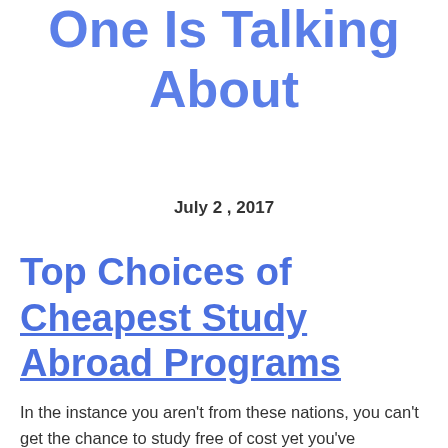One Is Talking About
July 2, 2017
Top Choices of Cheapest Study Abroad Programs
In the instance you aren't from these nations, you can't get the chance to study free of cost yet you've